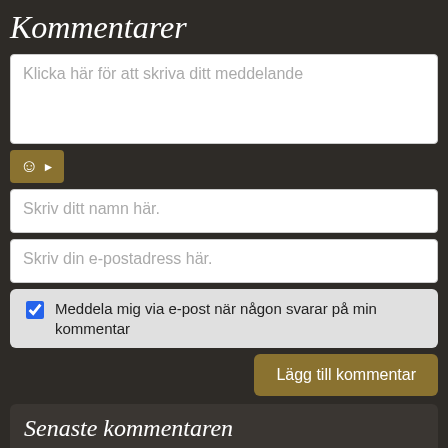Kommentarer
Klicka här för att skriva ditt meddelande
Skriv ditt namn här.
Skriv din e-postadress här.
Meddela mig via e-post när någon svarar på min kommentar
Lägg till kommentar
Senaste kommentaren
24.03 | 11:02